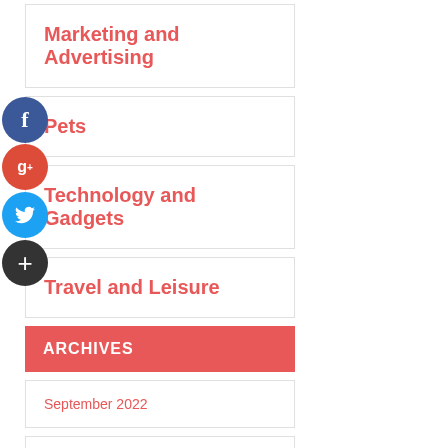Marketing and Advertising
Pets
Technology and Gadgets
Travel and Leisure
ARCHIVES
September 2022
August 2022